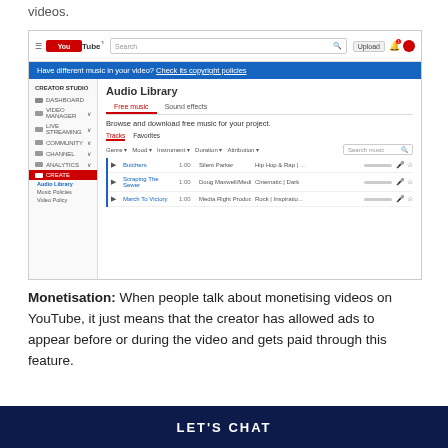videos.
[Figure (screenshot): YouTube Creator Studio Audio Library screenshot showing navigation sidebar, audio library with free music tracks including Butchers, Scraping The Sewer, and March To Victory]
Monetisation: When people talk about monetising videos on YouTube, it just means that the creator has allowed ads to appear before or during the video and gets paid through this feature.
LET'S CHAT